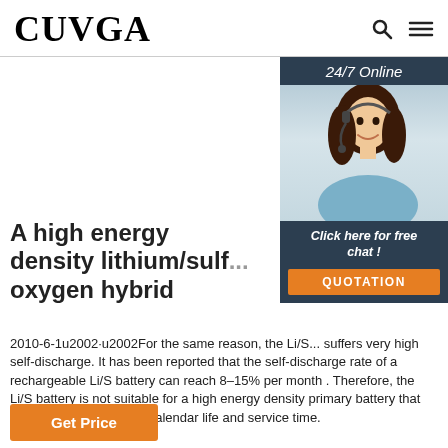CUVGA
[Figure (photo): 24/7 Online customer service widget with a woman wearing a headset, with 'Click here for free chat!' and 'QUOTATION' button]
A high energy density lithium/sulf...oxygen hybrid
2010-6-1u2002·u2002For the same reason, the Li/S...suffers very high self-discharge. It has been reported that the self-discharge rate of a rechargeable Li/S battery can reach 8–15% per month . Therefore, the Li/S battery is not suitable for a high energy density primary battery that is required to have long calendar life and service time.
Get Price